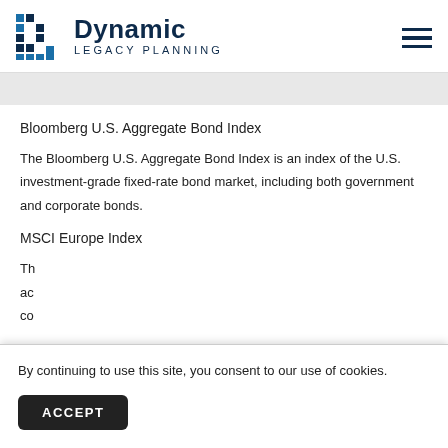Dynamic Legacy Planning
Bloomberg U.S. Aggregate Bond Index
The Bloomberg U.S. Aggregate Bond Index is an index of the U.S. investment-grade fixed-rate bond market, including both government and corporate bonds.
MSCI Europe Index
By continuing to use this site, you consent to our use of cookies.